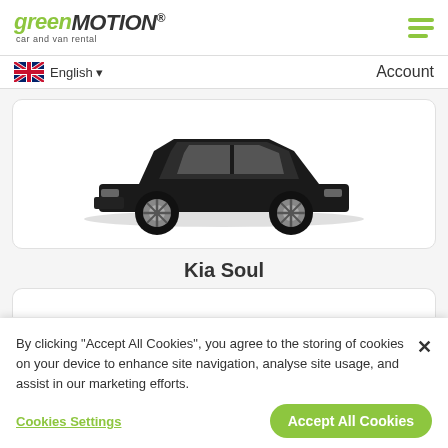[Figure (logo): Green Motion car and van rental logo with hamburger menu icon]
English ▾   Account
[Figure (photo): Kia Soul black car image, partially cropped showing wheels and lower body]
Kia Soul
By clicking “Accept All Cookies”, you agree to the storing of cookies on your device to enhance site navigation, analyse site usage, and assist in our marketing efforts.
Cookies Settings   Accept All Cookies